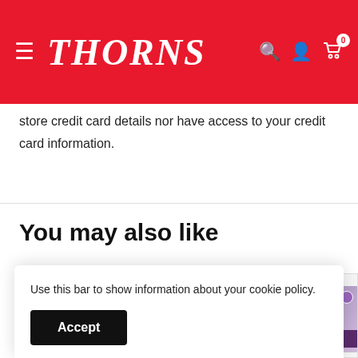THORNS
store credit card details nor have access to your credit card information.
You may also like
[Figure (photo): Two Johnsons seed packets partially visible in product card thumbnails]
Use this bar to show information about your cookie policy.